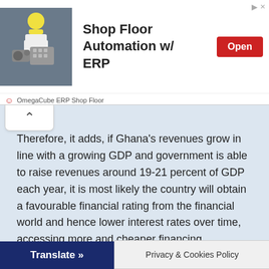[Figure (screenshot): Advertisement banner: Shop Floor Automation w/ ERP by OmegaCube ERP Shop Floor with Open button]
Therefore, it adds, if Ghana's revenues grow in line with a growing GDP and government is able to raise revenues around 19-21 percent of GDP each year, it is most likely the country will obtain a favourable financial rating from the financial world and hence lower interest rates over time, accessing more and cheaper financing opportunities as well.
“The key to debt sustainability in line current thinking
Translate »
Privacy & Cookies Policy